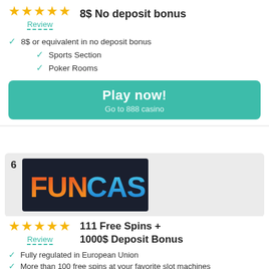★★★★★
Review
8$ No deposit bonus
8$ or equivalent in no deposit bonus
Sports Section
Poker Rooms
Play now!
Go to 888 casino
6
[Figure (logo): Fun Casino logo on dark background]
★★★★★
Review
111 Free Spins + 1000$ Deposit Bonus
Fully regulated in European Union
More than 100 free spins at your favorite slot machines